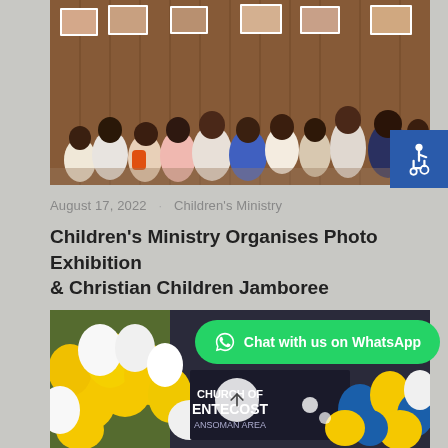[Figure (photo): Group of children standing with backs to camera, looking at a photo exhibition on a wooden-paneled wall.]
August 17, 2022 · Children's Ministry
Children's Ministry Organises Photo Exhibition & Christian Children Jamboree
[Figure (photo): Yellow and white balloons decorating an entrance with a Church of Pentecost Dansoman Area sign visible.]